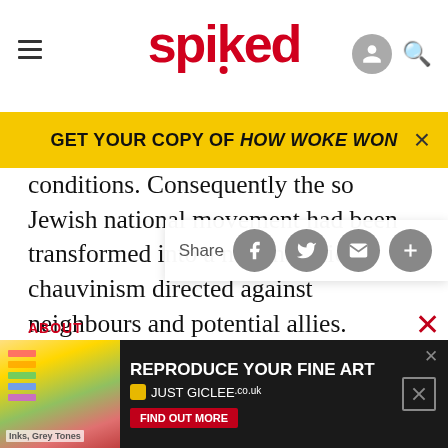spiked
GET YOUR COPY OF HOW WOKE WON
conditions. Consequently the so... Jewish national movement had been transformed into a nationalistic chauvinism directed against neighbours and potential allies.

For Arendt, totalitarian ideology succeeds precisely because it destroys the process of thinking. Thinking is not the preserve of the elite few. Every human being is a thinking creature possessing a potential for reflection and independent judgement. If this...
[Figure (screenshot): Bottom advertisement banner for REPRODUCE YOUR FINE ART / JUST GICLEE]
ABOUT